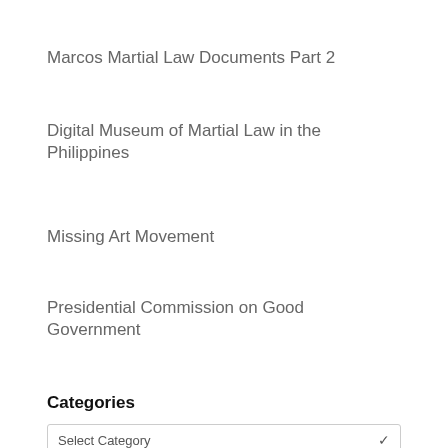Marcos Martial Law Documents Part 2
Digital Museum of Martial Law in the Philippines
Missing Art Movement
Presidential Commission on Good Government
Categories
Select Category